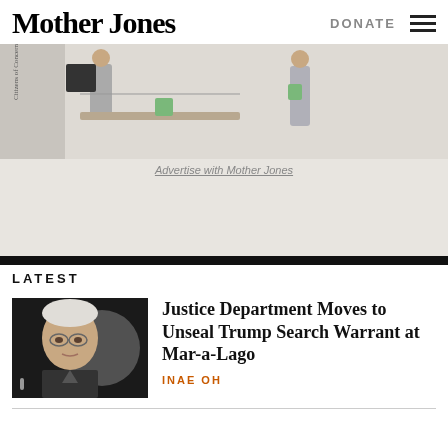Mother Jones | DONATE
[Figure (illustration): Advertisement illustration showing two people at a table, one pouring something into a cup, with editorial cartoon style artwork for Mother Jones]
Advertise with Mother Jones
LATEST
[Figure (photo): Photo of an older man with white hair and glasses, looking serious, likely Merrick Garland at a hearing]
Justice Department Moves to Unseal Trump Search Warrant at Mar-a-Lago
INAE OH